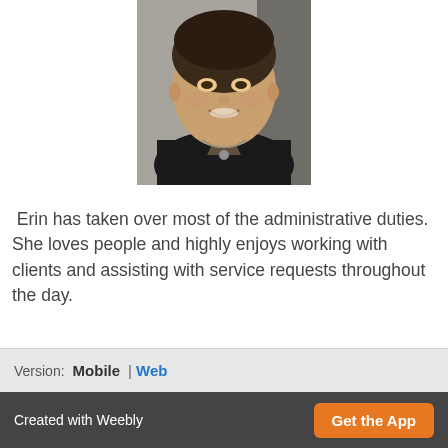[Figure (photo): Portrait photo of a smiling woman with dark hair pulled back, wearing a black top and a necklace, photographed outdoors]
Erin has taken over most of the administrative duties. She loves people and highly enjoys working with clients and assisting with service requests throughout the day.
Version:  Mobile  |  Web
Created with Weebly
Get the App